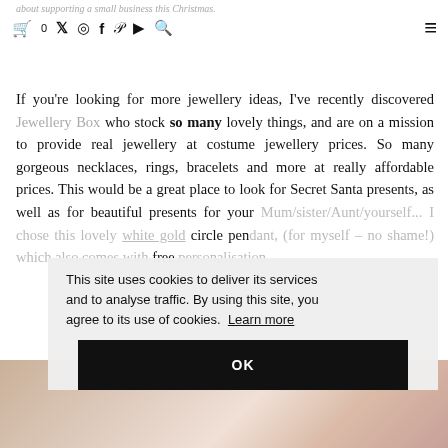about supporting a small business this Christmas.
JEWELLERY BOX
If you're looking for more jewellery ideas, I've recently discovered Jewellery Box who stock so many lovely things, and are on a mission to provide real jewellery at costume jewellery prices. So many gorgeous necklaces, rings, bracelets and more at really affordable prices. This would be a great place to look for Secret Santa presents, as well as for beautiful presents for your Mum/sister/Aunt/yourself... I chose this lovely white gold circle pendant, (for myself – no shame!) which also comes with free personalisation...
This site uses cookies to deliver its services and to analyse traffic. By using this site, you agree to its use of cookies. Learn more
OK
[Figure (photo): Gift wrapped presents in soft pinks and creams, partially visible at bottom of page]